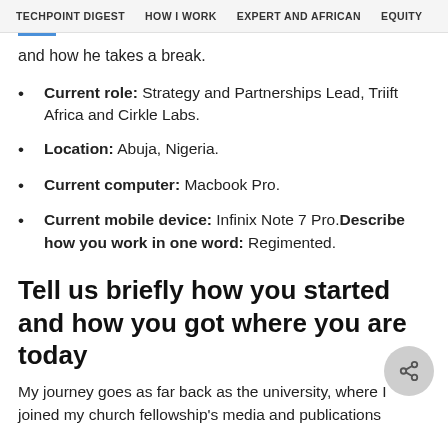TECHPOINT DIGEST   HOW I WORK   EXPERT AND AFRICAN   EQUITY
and how he takes a break.
Current role: Strategy and Partnerships Lead, Triift Africa and Cirkle Labs.
Location: Abuja, Nigeria.
Current computer: Macbook Pro.
Current mobile device: Infinix Note 7 Pro.Describe how you work in one word: Regimented.
Tell us briefly how you started and how you got where you are today
My journey goes as far back as the university, where I joined my church fellowship's media and publications